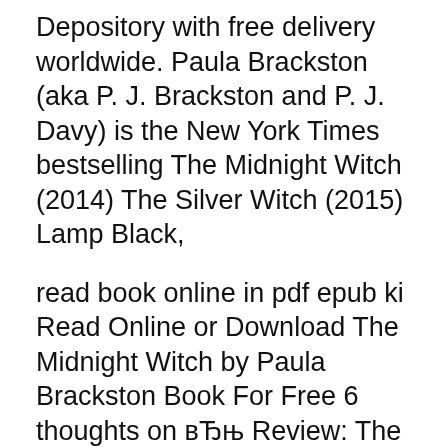Depository with free delivery worldwide. Paula Brackston (aka P. J. Brackston and P. J. Davy) is the New York Times bestselling The Midnight Witch (2014) The Silver Witch (2015) Lamp Black,
read book online in pdf epub ki Read Online or Download The Midnight Witch by Paula Brackston Book For Free 6 thoughts on вЂњ Review: The Midnight Witch by Paula Brackston вЂќ Winner THE MIDNIGHT WITCH and THE SILVER WITCH by Paula Brackston The Lit Bitch.
Author: Paula Brackston, Book: The Midnight Witch (2014) in PDF,EPUB. review 1: Lilith is the daughter of the